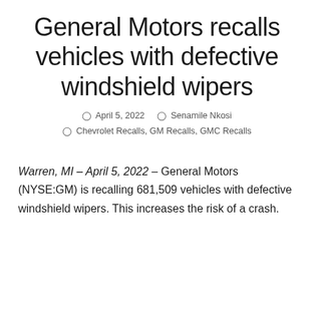General Motors recalls vehicles with defective windshield wipers
April 5, 2022   Senamile Nkosi   Chevrolet Recalls, GM Recalls, GMC Recalls
Warren, MI – April 5, 2022 – General Motors (NYSE:GM) is recalling 681,509 vehicles with defective windshield wipers. This increases the risk of a crash.